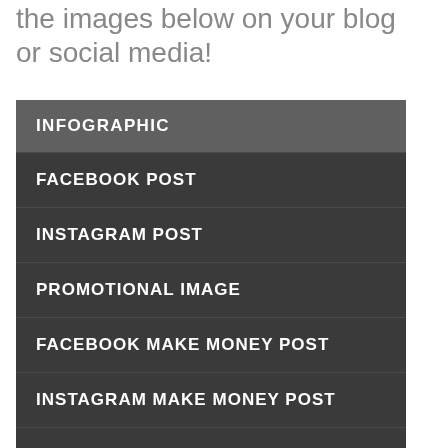the images below on your blog or social media!
INFOGRAPHIC
FACEBOOK POST
INSTAGRAM POST
PROMOTIONAL IMAGE
FACEBOOK MAKE MONEY POST
INSTAGRAM MAKE MONEY POST
PINTEREST PIN IMAGE
PINTEREST MAKE MONEY PIN IMAGE
COUPON CODE IMAGE FACEBOOK